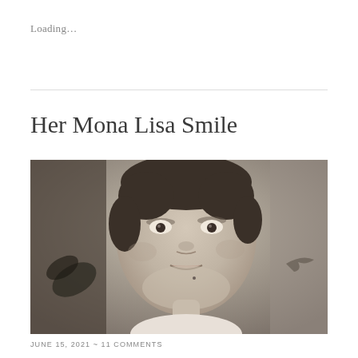Loading…
Her Mona Lisa Smile
[Figure (photo): Black and white portrait photograph of a young woman with short dark hair, looking at the camera with a subtle smile. Abstract painted elements visible in the background.]
JUNE 15, 2021 ~ 11 COMMENTS